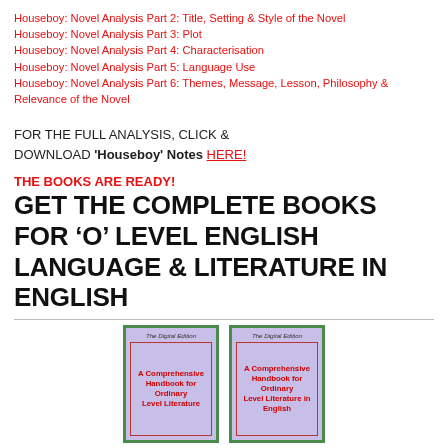Houseboy: Novel Analysis Part 2: Title, Setting & Style of the Novel
Houseboy: Novel Analysis Part 3: Plot
Houseboy: Novel Analysis Part 4: Characterisation
Houseboy: Novel Analysis Part 5: Language Use
Houseboy: Novel Analysis Part 6: Themes, Message, Lesson, Philosophy & Relevance of the Novel
FOR THE FULL ANALYSIS, CLICK & DOWNLOAD 'Houseboy' Notes HERE!
THE BOOKS ARE READY!
GET THE COMPLETE BOOKS FOR ‘O’ LEVEL ENGLISH LANGUAGE & LITERATURE IN ENGLISH
[Figure (illustration): Two book covers side by side, both titled 'A Comprehensive Handbook for Ordinary Level Literature' and 'A Comprehensive Handbook for Ordinary Level Literature in English', with purple background and red bold text, labelled 'The Digital Edition', bordered in green.]